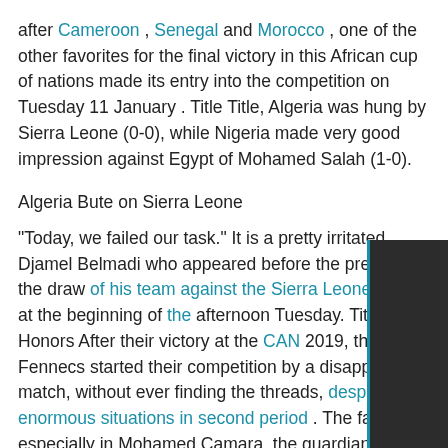after Cameroon , Senegal and Morocco , one of the other favorites for the final victory in this African cup of nations made its entry into the competition on Tuesday 11 January . Title Title, Algeria was hung by Sierra Leone (0-0), while Nigeria made very good impression against Egypt of Mohamed Salah (1-0).
Algeria Bute on Sierra Leone
"Today, we failed our task." It is a pretty irritated Djamel Belmadi who appeared before the press after the draw of his team against the Sierra Leone (0-0) at the beginning of the afternoon Tuesday. Title Honors After their victory at the CAN 2019, the Fennecs started their competition by a disappointing match, without ever finding the threads, despite enormous situations in second period . The fault especially in Mohamed Camara, the guardian of the Sierra Leone, huge and very moved when receiving the trophy of best player of the meeting.